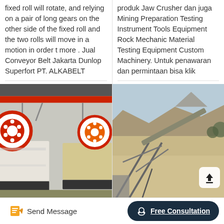fixed roll will rotate, and relying on a pair of long gears on the other side of the fixed roll and the two rolls will move in a motion in order t more . Jual Conveyor Belt Jakarta Dunlop Superfort PT. ALKABELT
produk Jaw Crusher dan juga Mining Preparation Testing Instrument Tools Equipment Rock Mechanic Material Testing Equipment Custom Machinery. Untuk penawaran dan permintaan bisa klik
[Figure (photo): Industrial jaw crusher machines in a factory/warehouse setting with red and white equipment and red overhead crane structure]
[Figure (photo): Outdoor quarry/mining site with conveyor belt structure, rocky hillside in background, with an upload arrow icon overlay in bottom right]
Send Message
Free Consultation